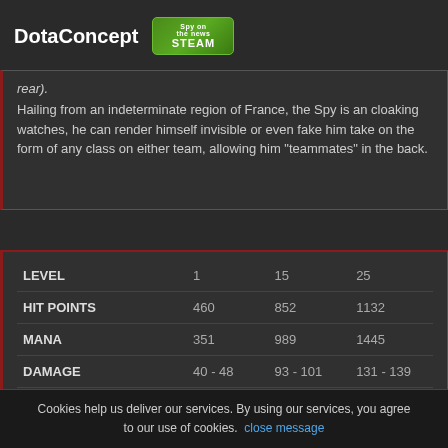DotaConcept
rear). Hailing from an indeterminate region of France, the Spy is an cloaking watches, he can render himself invisible or even fake him take on the form of any class on either team, allowing him "teammates" in the back.
|  | 1 | 15 | 25 |
| --- | --- | --- | --- |
| LEVEL | 1 | 15 | 25 |
| HIT POINTS | 460 | 852 | 1132 |
| MANA | 351 | 989 | 1445 |
| DAMAGE | 40 - 48 | 93 - 101 | 131 - 139 |
Cookies help us deliver our services. By using our services, you agree to our use of cookies. close message